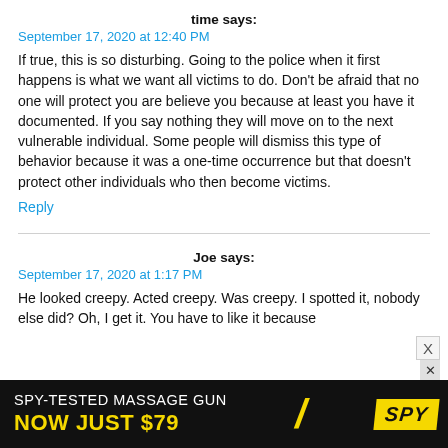time says:
September 17, 2020 at 12:40 PM
If true, this is so disturbing. Going to the police when it first happens is what we want all victims to do. Don't be afraid that no one will protect you are believe you because at least you have it documented. If you say nothing they will move on to the next vulnerable individual. Some people will dismiss this type of behavior because it was a one-time occurrence but that doesn't protect other individuals who then become victims.
Reply
Joe says:
September 17, 2020 at 1:17 PM
He looked creepy. Acted creepy. Was creepy. I spotted it, nobody else did? Oh, I get it. You have to like it because
[Figure (screenshot): Advertisement banner: SPY-TESTED MASSAGE GUN NOW JUST $79 with SPY logo]